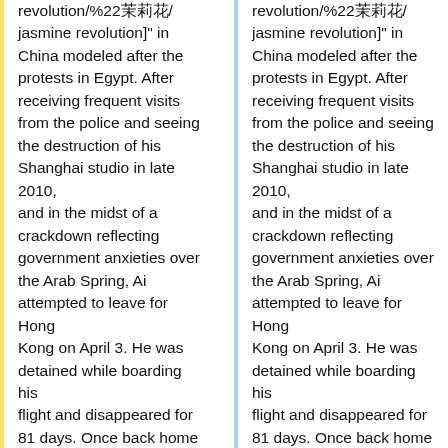revolution/%22茉莉花/jasmine revolution]" in China modeled after the protests in Egypt. After receiving frequent visits from the police and seeing the destruction of his Shanghai studio in late 2010, and in the midst of a crackdown reflecting government anxieties over the Arab Spring, Ai attempted to leave for Hong Kong on April 3. He was detained while boarding his flight and disappeared for 81 days. Once back home and under surveillance, he [http://chinadigitaltimes.net/2011/07/ai-weiwei-joins-google-users-protest-true-
revolution/%22茉莉花/jasmine revolution]" in China modeled after the protests in Egypt. After receiving frequent visits from the police and seeing the destruction of his Shanghai studio in late 2010, and in the midst of a crackdown reflecting government anxieties over the Arab Spring, Ai attempted to leave for Hong Kong on April 3. He was detained while boarding his flight and disappeared for 81 days. Once back home and under surveillance, he [http://chinadigitaltimes.net/2011/07/ai-weiwei-joins-google-users-protest-true-